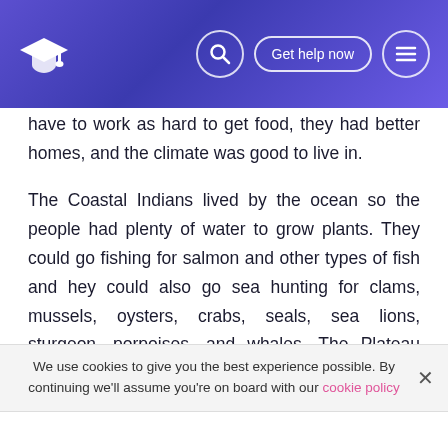[Navigation bar with logo, search icon, Get help now button, menu icon]
have to work as hard to get food, they had better homes, and the climate was good to live in.
The Coastal Indians lived by the ocean so the people had plenty of water to grow plants. They could go fishing for salmon and other types of fish and hey could also go sea hunting for clams, mussels, oysters, crabs, seals, sea lions, sturgeon, porpoises, and whales. The Plateau Indian had to travel to known sites on a yearly basis to get food. Men had to go hunting for elk, buffalo, and smaller animals such as rabbits, mountain goats, sheep and birds. women and children also had to dig for camas bulbs, and groups of
We use cookies to give you the best experience possible. By continuing we'll assume you're on board with our cookie policy